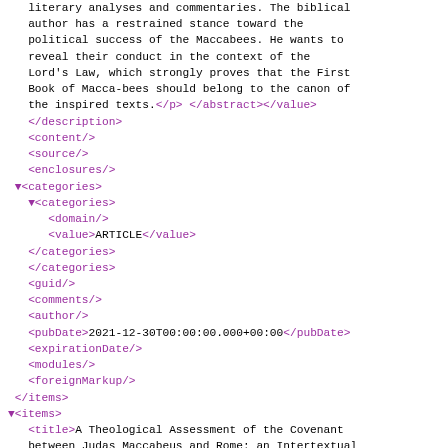XML/code content showing bibliographic metadata including description, content, source, enclosures, categories, guid, comments, author, pubDate, expirationDate, modules, foreignMarkup, items elements with article metadata about 'A Theological Assessment of the Covenant between Judas Maccabeus and Rome: an Intertextual Analysis of 1 Macc 8:17-20'